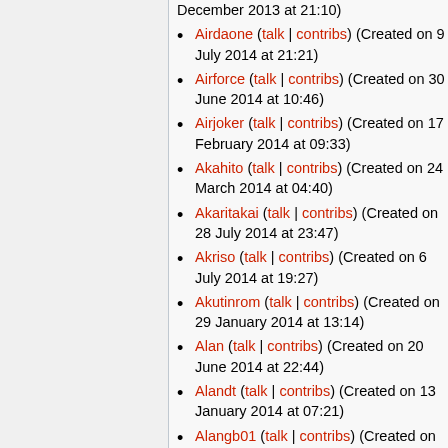December 2013 at 21:10)
Airdaone (talk | contribs) (Created on 9 July 2014 at 21:21)
Airforce (talk | contribs) (Created on 30 June 2014 at 10:46)
Airjoker (talk | contribs) (Created on 17 February 2014 at 09:33)
Akahito (talk | contribs) (Created on 24 March 2014 at 04:40)
Akaritakai (talk | contribs) (Created on 28 July 2014 at 23:47)
Akriso (talk | contribs) (Created on 6 July 2014 at 19:27)
Akutinrom (talk | contribs) (Created on 29 January 2014 at 13:14)
Alan (talk | contribs) (Created on 20 June 2014 at 22:44)
Alandt (talk | contribs) (Created on 13 January 2014 at 07:21)
Alangb01 (talk | contribs) (Created on